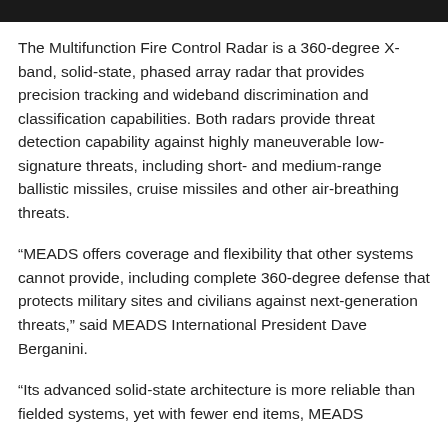The Multifunction Fire Control Radar is a 360-degree X-band, solid-state, phased array radar that provides precision tracking and wideband discrimination and classification capabilities. Both radars provide threat detection capability against highly maneuverable low-signature threats, including short- and medium-range ballistic missiles, cruise missiles and other air-breathing threats.
“MEADS offers coverage and flexibility that other systems cannot provide, including complete 360-degree defense that protects military sites and civilians against next-generation threats,” said MEADS International President Dave Berganini.
“Its advanced solid-state architecture is more reliable than fielded systems, yet with fewer end items, MEADS